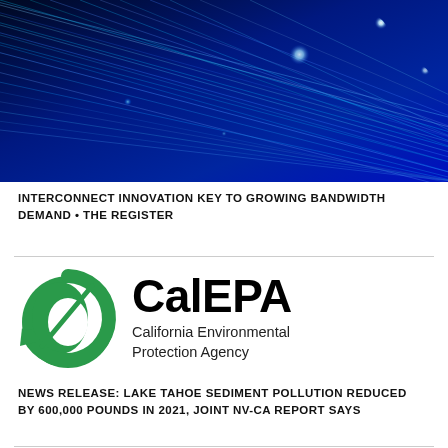[Figure (photo): Close-up photograph of fiber optic cables with blue light streaks and glowing white/cyan orbs against dark blue background]
INTERCONNECT INNOVATION KEY TO GROWING BANDWIDTH DEMAND • THE REGISTER
[Figure (logo): CalEPA California Environmental Protection Agency logo — green circular arrow symbol on left, 'CalEPA' text in large bold black font with 'California Environmental Protection Agency' below in medium font]
NEWS RELEASE: LAKE TAHOE SEDIMENT POLLUTION REDUCED BY 600,000 POUNDS IN 2021, JOINT NV-CA REPORT SAYS